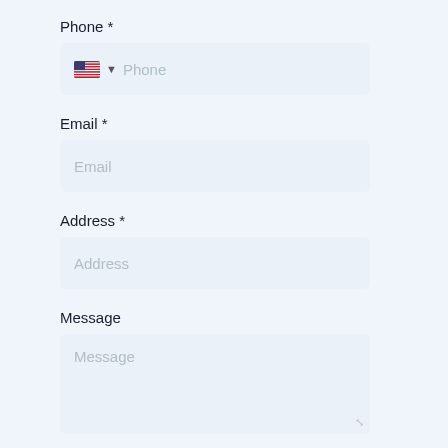Phone *
[Figure (screenshot): Phone input field with US flag dropdown and placeholder text 'Phone']
Email *
[Figure (screenshot): Email input field with placeholder text 'Email']
Address *
[Figure (screenshot): Address input field with placeholder text 'Address']
Message
[Figure (screenshot): Message textarea with placeholder text 'Message' and resize handle]